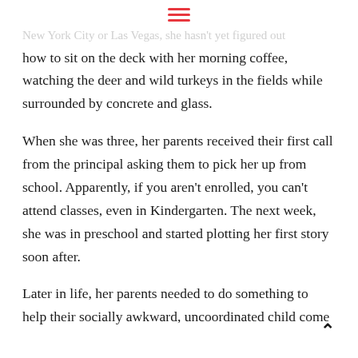≡
New York City or Las Vegas, she hasn't yet figured out how to sit on the deck with her morning coffee, watching the deer and wild turkeys in the fields while surrounded by concrete and glass.
When she was three, her parents received their first call from the principal asking them to pick her up from school. Apparently, if you aren't enrolled, you can't attend classes, even in Kindergarten. The next week, she was in preschool and started plotting her first story soon after.
Later in life, her parents needed to do something to help their socially awkward, uncoordinated child come